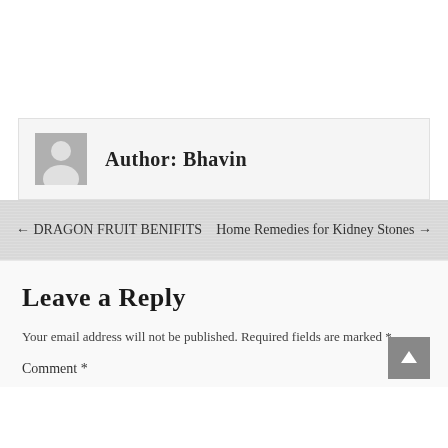Author: Bhavin
← DRAGON FRUIT BENIFITS   Home Remedies for Kidney Stones →
Leave a Reply
Your email address will not be published. Required fields are marked *
Comment *